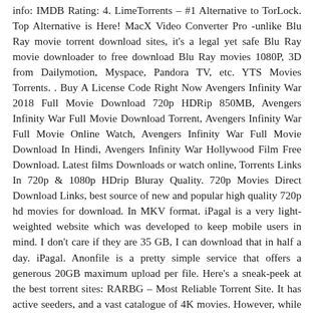info: IMDB Rating: 4. LimeTorrents – #1 Alternative to TorLock. Top Alternative is Here! MacX Video Converter Pro -unlike Blu Ray movie torrent download sites, it's a legal yet safe Blu Ray movie downloader to free download Blu Ray movies 1080P, 3D from Dailymotion, Myspace, Pandora TV, etc. YTS Movies Torrents. . Buy A License Code Right Now Avengers Infinity War 2018 Full Movie Download 720p HDRip 850MB, Avengers Infinity War Full Movie Download Torrent, Avengers Infinity War Full Movie Online Watch, Avengers Infinity War Full Movie Download In Hindi, Avengers Infinity War Hollywood Film Free Download. Latest films Downloads or watch online, Torrents Links In 720p & 1080p HDrip Bluray Quality. 720p Movies Direct Download Links, best source of new and popular high quality 720p hd movies for download. In MKV format. iPagal is a very light-weighted website which was developed to keep mobile users in mind. I don't care if they are 35 GB, I can download that in half a day. iPagal. Anonfile is a pretty simple service that offers a generous 20GB maximum upload per file. Here's a sneak-peek at the best torrent sites: RARBG – Most Reliable Torrent Site. It has active seeders, and a vast catalogue of 4K movies. However, while embarking on this brutal quest to take over the continent, his efforts are foiled by the hero Emilia, forcing Satan to make his swift retreat. The website has a very simple template design and users can easily find the target movies by searching . x264-COCAIN. STAY ANONYMOUS AND SECURE. The legal